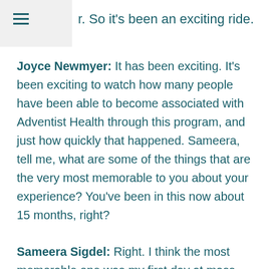r. So it's been an exciting ride.
Joyce Newmyer: It has been exciting. It's been exciting to watch how many people have been able to become associated with Adventist Health through this program, and just how quickly that happened. Sameera, tell me, what are some of the things that are the very most memorable to you about your experience? You've been in this now about 15 months, right?
Sameera Sigdel: Right. I think the most memorable one was my first day at mass